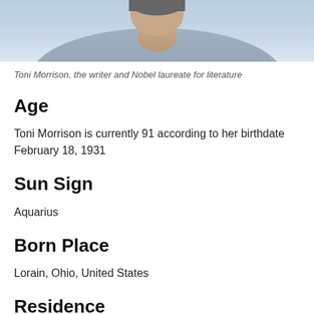[Figure (photo): Bottom portion of a photograph of Toni Morrison, showing her face and upper body wearing a gray sweater, with a light blue background]
Toni Morrison, the writer and Nobel laureate for literature
Age
Toni Morrison is currently 91 according to her birthdate February 18, 1931
Sun Sign
Aquarius
Born Place
Lorain, Ohio, United States
Residence